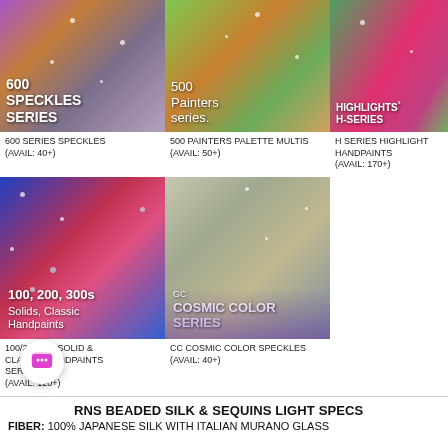[Figure (photo): Photo of colorful speckled yarn skeins with text overlay '600 SPECKLES SERIES']
[Figure (photo): Photo of multicolor yarn skeins (painters palette) with text overlay '500 Painters series.']
[Figure (photo): Photo of bright colored yarn skeins with text overlay 'HIGHLIGHTS H-SERIES']
600 SERIES SPECKLES (AVAIL: 40+)
500 PAINTERS PALETTE MULTIS (AVAIL: 50+)
H SERIES HIGHLIGHT HANDPAINTS (AVAIL: 170+)
[Figure (photo): Photo of blue, red, and pink yarn skeins with sparkling droplets and text overlay '100, 200, 300s Solids, Classic Handpaints']
[Figure (photo): Photo of speckled light-colored yarn skeins with text overlay 'CC COSMIC COLOR SERIES']
100/200/300 SOLID & CLASSIC HANDPAINTS SERIES (AVAIL: 120+)
CC COSMIC COLOR SPECKLES (AVAIL: 40+)
RNS BEADED SILK & SEQUINS LIGHT SPECS
FIBER: 100% JAPANESE SILK WITH ITALIAN MURANO GLASS